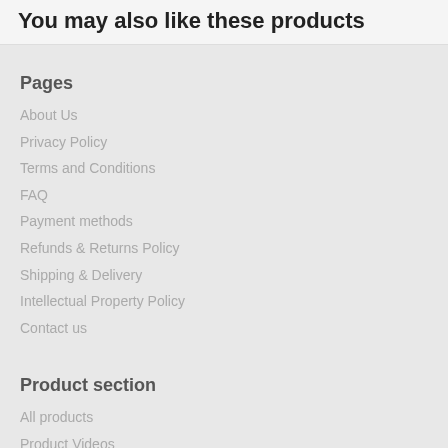You may also like these products
Pages
About Us
Privacy Policy
Terms and Conditions
FAQ
Payment methods
Refunds & Returns Policy
Shipping & Delivery
Intellectual Property Policy
Contact us
Product section
All products
Product Videos
On sale
Promotional products